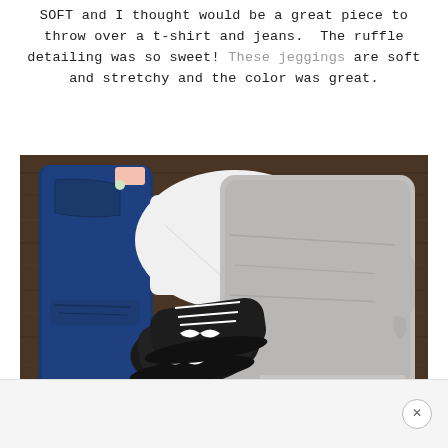SOFT and I thought would be a great piece to throw over a t-shirt and jeans. The ruffle detailing was so sweet! These jeggings are soft and stretchy and the color was great.
[Figure (photo): Flat lay photo on a dark wood background showing dark blue jeans, a white t-shirt, a grey ruffle-hem sweater, and black lace-up sneakers arranged together.]